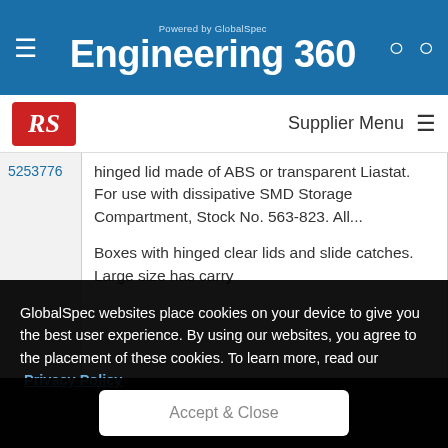Powered by GlobalSpec Engineering 360
[Figure (logo): RS Components logo - red square with RS text in white italic]
Supplier Menu
5253776
hinged lid made of ABS or transparent Liastat. For use with dissipative SMD Storage Compartment, Stock No. 563-823. All...
Boxes with hinged clear lids and slide catches. Large size has carry
GlobalSpec websites place cookies on your device to give you the best user experience. By using our websites, you agree to the placement of these cookies. To learn more, read our Privacy Policy
Accept & Close